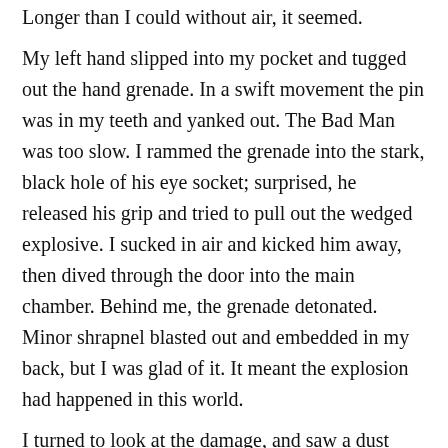Longer than I could without air, it seemed.
My left hand slipped into my pocket and tugged out the hand grenade. In a swift movement the pin was in my teeth and yanked out. The Bad Man was too slow. I rammed the grenade into the stark, black hole of his eye socket; surprised, he released his grip and tried to pull out the wedged explosive. I sucked in air and kicked him away, then dived through the door into the main chamber. Behind me, the grenade detonated. Minor shrapnel blasted out and embedded in my back, but I was glad of it. It meant the explosion had happened in this world.
I turned to look at the damage, and saw a dust filled room with the Bad Man's headless torso lying on the floor. By his side was the sledgehammer. The rats were gone. For a moment, I enjoyed the